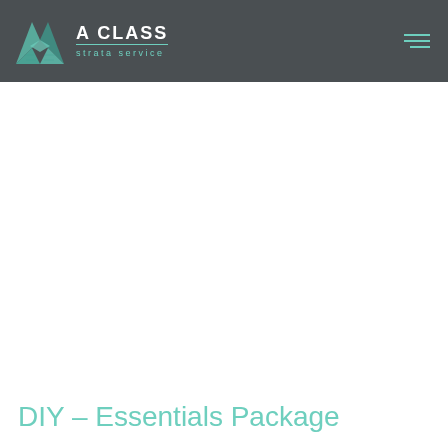A CLASS strata service
DIY – Essentials Package